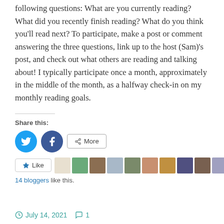following questions: What are you currently reading? What did you recently finish reading? What do you think you'll read next? To participate, make a post or comment answering the three questions, link up to the host (Sam)'s post, and check out what others are reading and talking about! I typically participate once a month, approximately in the middle of the month, as a halfway check-in on my monthly reading goals.
Share this:
[Figure (other): Social sharing buttons: Twitter (blue circle), Facebook (blue circle), and a More button with share icon]
[Figure (other): Like button with star icon followed by a row of 10 blogger avatar thumbnails]
14 bloggers like this.
July 14, 2021   1